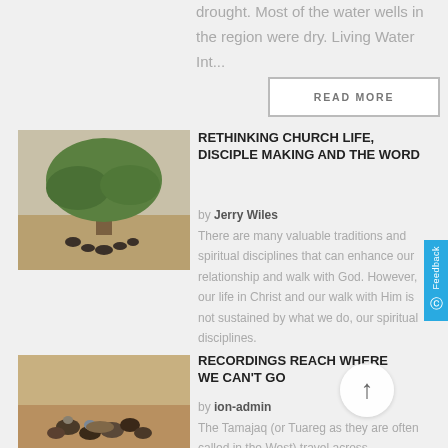drought. Most of the water wells in the region were dry. Living Water Int...
READ MORE
[Figure (photo): People gathered under a large tree in an arid landscape]
RETHINKING CHURCH LIFE, DISCIPLE MAKING AND THE WORD
by Jerry Wiles
There are many valuable traditions and spiritual disciplines that can enhance our relationship and walk with God. However, our life in Christ and our walk with Him is not sustained by what we do, our spiritual disciplines.
[Figure (photo): Group of people sitting in a circle on desert sand]
RECORDINGS REACH WHERE WE CAN'T GO
by ion-admin
The Tamajaq (or Tuareg as they are often called in the West) travel across